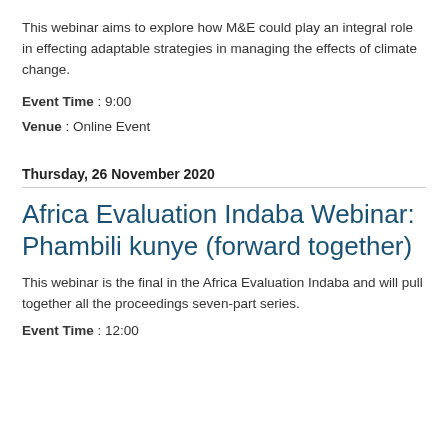This webinar aims to explore how M&E could play an integral role in effecting adaptable strategies in managing the effects of climate change.
Event Time : 9:00
Venue : Online Event
Thursday, 26 November 2020
Africa Evaluation Indaba Webinar: Phambili kunye (forward together)
This webinar is the final in the Africa Evaluation Indaba and will pull together all the proceedings seven-part series.
Event Time : 12:00